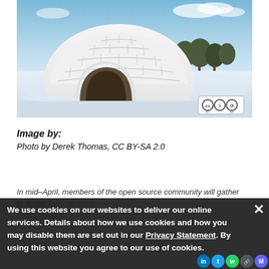[Figure (photo): Photograph of a large igloo made of snow blocks with an arched entrance, set in a snow-covered field with bare trees in the background and blue sky. A Creative Commons CC BY-SA license badge is visible in the lower right corner of the image.]
Image by:
Photo by Derek Thomas, CC BY-SA 2.0
In mid-April, members of the open source community will gather in Austin for...on North postdoctoranelli
We use cookies on our websites to deliver our online services. Details about how we use cookies and how you may disable them are set out in our Privacy Statement. By using this website you agree to our use of cookies.